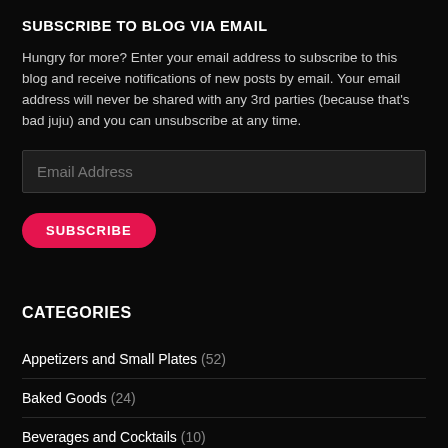SUBSCRIBE TO BLOG VIA EMAIL
Hungry for more? Enter your email address to subscribe to this blog and receive notifications of new posts by email. Your email address will never be shared with any 3rd parties (because that's bad juju) and you can unsubscribe at any time.
CATEGORIES
Appetizers and Small Plates (52)
Baked Goods (24)
Beverages and Cocktails (10)
Breakfast and Brunch (16)